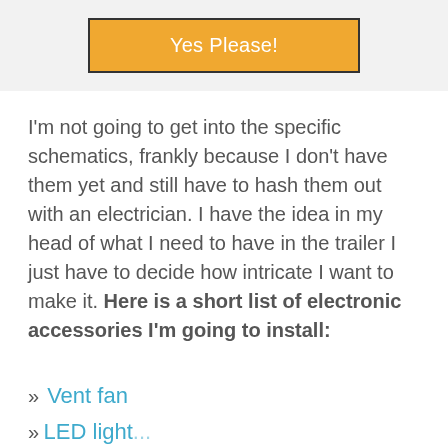[Figure (other): Orange button labeled 'Yes Please!' on a light gray background]
I'm not going to get into the specific schematics, frankly because I don't have them yet and still have to hash them out with an electrician. I have the idea in my head of what I need to have in the trailer I just have to decide how intricate I want to make it. Here is a short list of electronic accessories I'm going to install:
» Vent fan
» LED light...